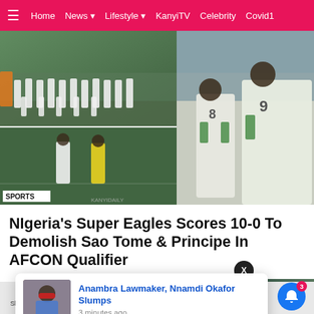≡  Home  News ▾  Lifestyle ▾  KanyiTV  Celebrity  Covid1
[Figure (photo): Sports photo collage: top-left shows Nigerian Super Eagles football team lineup in green and white kits on a pitch; bottom-left shows match action with a player in yellow jersey; right side shows two Nigerian players in white/green kits celebrating, with numbers 8 and 9 on their backs. SPORTS label in bottom left corner.]
NIgeria's Super Eagles Scores 10-0 To Demolish Sao Tome & Principe In AFCON Qualifier
[Figure (photo): Notification popup card showing an image of a man in a red hat and blue clothing, with text 'Anambra Lawmaker, Nnamdi Okafor Slumps' and timestamp '3 minutes ago']
Shares  [Facebook]  [Twitter]  [WhatsApp]  [Messenger]